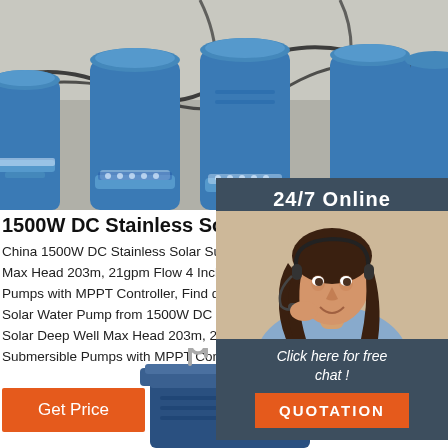[Figure (photo): Row of blue DC solar submersible pumps with black cables, displayed on a concrete surface]
[Figure (photo): Customer service representative woman with headset, 24/7 Online sidebar with quotation button]
1500W DC Stainless Solar Submersible Pump S
China 1500W DC Stainless Solar Submersible Pump Max Head 203m, 21gpm Flow 4 Inch Solar Deep We Pumps with MPPT Controller, Find details about Chi Solar Water Pump from 1500W DC Stainless Solar S Solar Deep Well Max Head 203m, 21gpm Flow 4 Inch Submersible Pumps with MPPT Controller - Fuan Re
[Figure (photo): Get Price orange button]
[Figure (photo): Close-up of blue submersible pump top with metal hook/handle]
[Figure (other): Orange TOP button with dot triangle above]